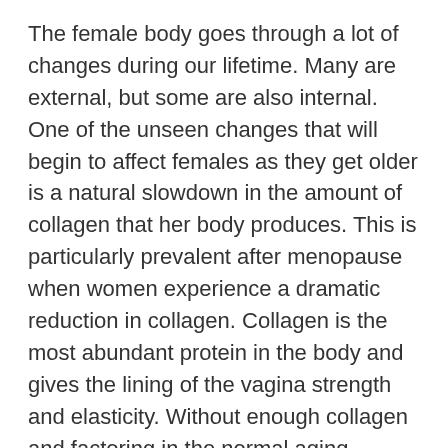The female body goes through a lot of changes during our lifetime. Many are external, but some are also internal. One of the unseen changes that will begin to affect females as they get older is a natural slowdown in the amount of collagen that her body produces. This is particularly prevalent after menopause when women experience a dramatic reduction in collagen. Collagen is the most abundant protein in the body and gives the lining of the vagina strength and elasticity. Without enough collagen and factoring in the normal aging process and physical stress sustained from childbirth, the tissues in the vagina can become weak and lax. This can cause a variety of unpleasant symptoms and effects.
Fortunately, there is a way to rejuvenate the vagina so that it feels tighter and stronger.